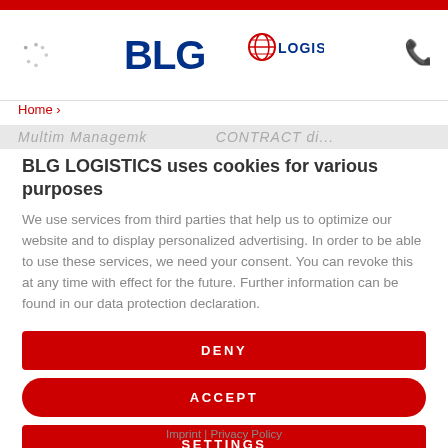[Figure (logo): BLG Logistics logo with globe icon and red top bar]
Home ›
BLG LOGISTICS uses cookies for various purposes
We use services from third parties that help us to optimize our website and to display personalized advertising. In order to be able to use these services, we need your consent. You can revoke this at any time with effect for the future. Further information can be found in our data protection declaration.
DENY
ACCEPT
SETTINGS
Imprint | Privacy Policy